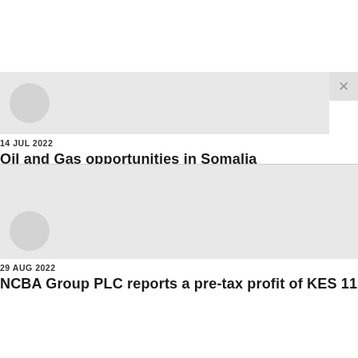[Figure (screenshot): Screenshot of a web page showing news article cards with close button (×). Top area is white, below is a modal/overlay with light gray background. First card shows a circular avatar placeholder, date '14 JUL 2022', and title 'Oil and Gas opportunities in Somalia'. Second card partially visible shows avatar, date '29 AUG 2022', and partial title 'NCBA Group PLC reports a pre-tax profit of KES 11.2 billion in'.]